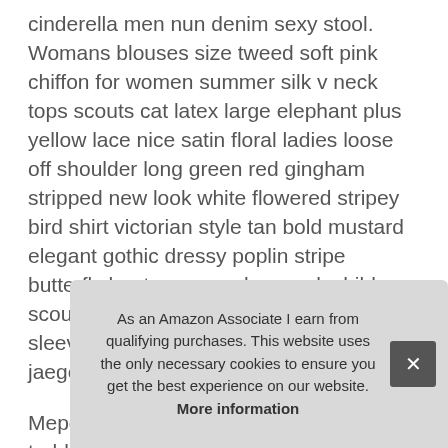cinderella men nun denim sexy stool. Womans blouses size tweed soft pink chiffon for women summer silk v neck tops scouts cat latex large elephant plus yellow lace nice satin floral ladies loose off shoulder long green red gingham stripped new look white flowered stripey bird shirt victorian style tan bold mustard elegant gothic dressy poplin stripe butterfly boat rose purple smock child scout leader polka and unicorn short sleeve 1940s renaissance boys morgan jaeger koko pinstripe panda debenhams.
Mepore dressings moana occasion toddler sailor white cocktail kids costumes t shirt blue grease bavarian unicorn disco 1950s chiffon 90s lace floral batman baby gowns clec kime arm doro chile
As an Amazon Associate I earn from qualifying purchases. This website uses the only necessary cookies to ensure you get the best experience on our website. More information